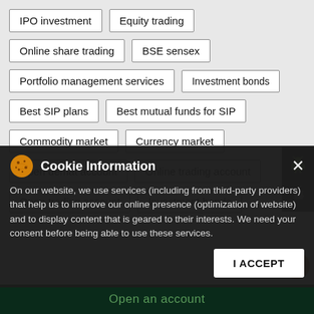IPO investment
Equity trading
Online share trading
BSE sensex
Portfolio management services
Investment bonds
Best SIP plans
Best mutual funds for SIP
Commodity market
Currency market
Open demat account
Online trading account
Open trading account
Investment bonds
Financial advisory services
Free Trading & Demat Accounts
Free Demat Account
Free Trading Account
Stock broker in Industrial Area
Cookie Information
On our website, we use services (including from third-party providers) that help us to improve our online presence (optimization of website) and to display content that is geared to their interests. We need your consent before being able to use these services.
I ACCEPT
Open an account